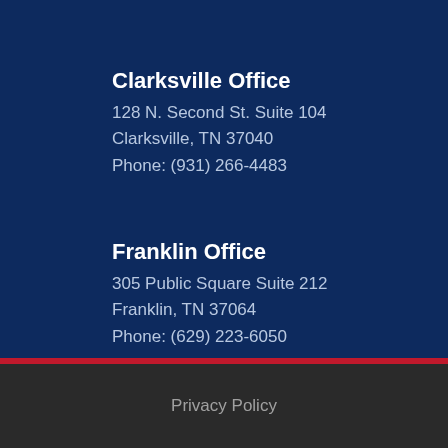Clarksville Office
128 N. Second St. Suite 104
Clarksville, TN 37040
Phone: (931) 266-4483
Franklin Office
305 Public Square Suite 212
Franklin, TN 37064
Phone: (629) 223-6050
Privacy Policy